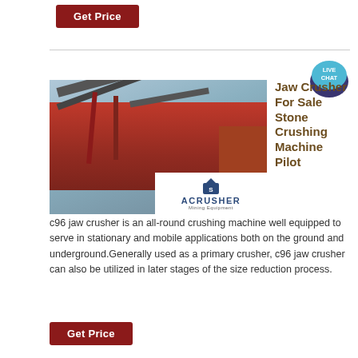Get Price
[Figure (photo): Industrial jaw crusher machine with red metal framework and conveyor structure, with ACRUSHER Mining Equipment logo overlay]
Jaw Crusher For Sale Stone Crushing Machine Pilot
c96 jaw crusher is an all-round crushing machine well equipped to serve in stationary and mobile applications both on the ground and underground.Generally used as a primary crusher, c96 jaw crusher can also be utilized in later stages of the size reduction process.
Get Price